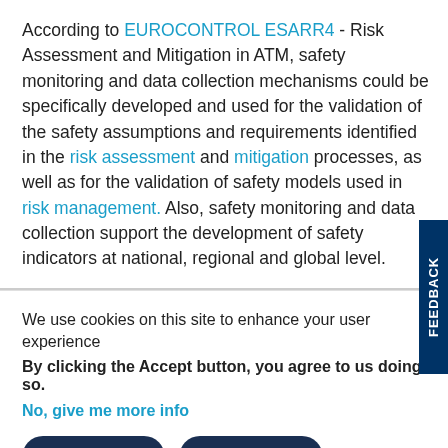According to EUROCONTROL ESARR4 - Risk Assessment and Mitigation in ATM, safety monitoring and data collection mechanisms could be specifically developed and used for the validation of the safety assumptions and requirements identified in the risk assessment and mitigation processes, as well as for the validation of safety models used in risk management. Also, safety monitoring and data collection support the development of safety indicators at national, regional and global level.
We use cookies on this site to enhance your user experience
By clicking the Accept button, you agree to us doing so.
No, give me more info
OK, I AGREE
NO, THANKS